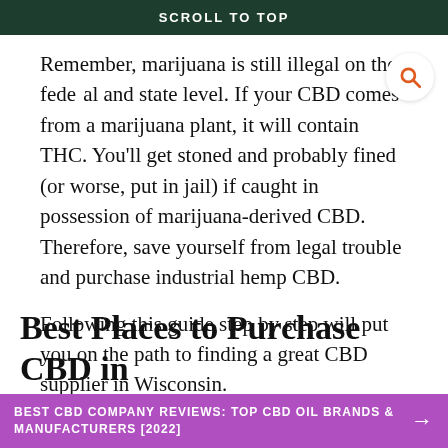SCROLL TO TOP
Remember, marijuana is still illegal on the federal and state level. If your CBD comes from a marijuana plant, it will contain THC. You'll get stoned and probably fined (or worse, put in jail) if caught in possession of marijuana-derived CBD. Therefore, save yourself from legal trouble and purchase industrial hemp CBD.
Following this guide step by step will put you on the path to finding a great CBD supplier in Wisconsin.
Best Places to Purchase CBD in
BEST CBD COMPANY REVIEWS: TOP CBD OIL BRANDS & MANUFACTURERS [2022]